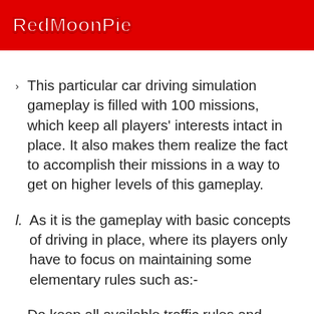RedMoonPie
This particular car driving simulation gameplay is filled with 100 missions, which keep all players' interests intact in place. It also makes them realize the fact to accomplish their missions in a way to get on higher levels of this gameplay.
As it is the gameplay with basic concepts of driving in place, where its players only have to focus on maintaining some elementary rules such as:-
Do keep all available traffic rules and regulations in mind and respect the same, while driving your car on roads.